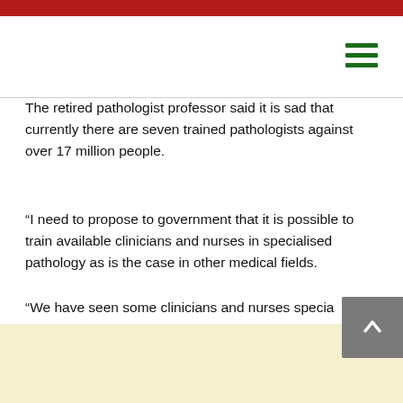The retired pathologist professor said it is sad that currently there are seven trained pathologists against over 17 million people.
“I need to propose to government that it is possible to train available clinicians and nurses in specialised pathology as is the case in other medical fields.
“We have seen some clinicians and nurses specially trained in fields like optometry just to bridge the gap that is there; this is why it is again possible to train other officers in pathology,” Liomba said.